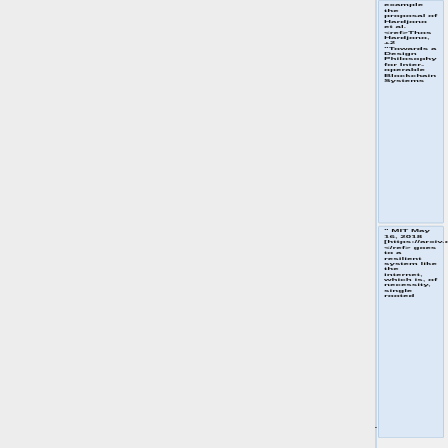example the proposal of Hardjono et al. <ref>Thos Hardjono, +2 "Towards a Design Philosophy for Inter-operable Blockchain Systems"
" MIT May 16, 2018 [https://arxiv.org/pdf/1805.05934.pdf]</ref> goes to a resilient system like the internet, which is, of necessity, single rooted